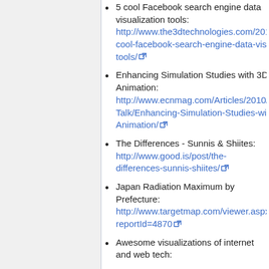5 cool Facebook search engine data visualization tools: http://www.the3dtechnologies.com/2010/09/05/5-cool-facebook-search-engine-data-visualization-tools/
Enhancing Simulation Studies with 3D Animation: http://www.ecnmag.com/Articles/2010/09/Design-Talk/Enhancing-Simulation-Studies-with-3D-Animation/
The Differences - Sunnis & Shiites: http://www.good.is/post/the-differences-sunnis-shiites/
Japan Radiation Maximum by Prefecture: http://www.targetmap.com/viewer.aspx?reportId=4870
Awesome visualizations of internet and web tech: